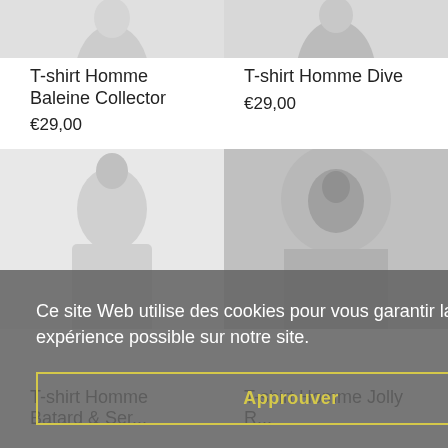[Figure (photo): Top portion of a product image showing a t-shirt on a model, cropped - left product]
[Figure (photo): Top portion of a product image showing a t-shirt on a model, cropped - right product]
T-shirt Homme Baleine Collector
€29,00
T-shirt Homme Dive
€29,00
[Figure (photo): Product photo of a t-shirt on a male model - left second row]
[Figure (photo): Product photo of a t-shirt on a male model - right second row]
Ce site Web utilise des cookies pour vous garantir la meilleure expérience possible sur notre site.
Approuver
T-shirt Homme Batard & Ser...
T-shirt Homme Jolly R...